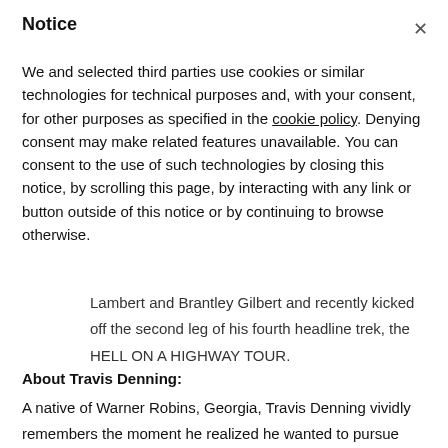Notice
We and selected third parties use cookies or similar technologies for technical purposes and, with your consent, for other purposes as specified in the cookie policy. Denying consent may make related features unavailable. You can consent to the use of such technologies by closing this notice, by scrolling this page, by interacting with any link or button outside of this notice or by continuing to browse otherwise.
Lambert and Brantley Gilbert and recently kicked off the second leg of his fourth headline trek, the HELL ON A HIGHWAY TOUR.
About Travis Denning:
A native of Warner Robins, Georgia, Travis Denning vividly remembers the moment he realized he wanted to pursue music for a